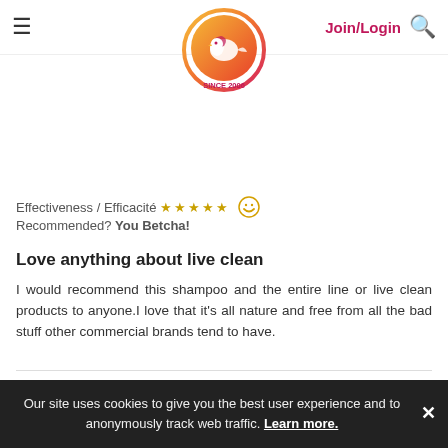ChickAdvisor navigation header with logo, Join/Login, and search icon
Effectiveness / Efficacité ★★★★★
Recommended? You Betcha!
Love anything about live clean
I would recommend this shampoo and the entire line or live clean products to anyone.I love that it's all nature and free from all the bad stuff other commercial brands tend to have.
Stephaniemc1227 ❤ 377
October 23, 2020
Ontario, Canada
Our site uses cookies to give you the best user experience and to anonymously track web traffic. Learn more.